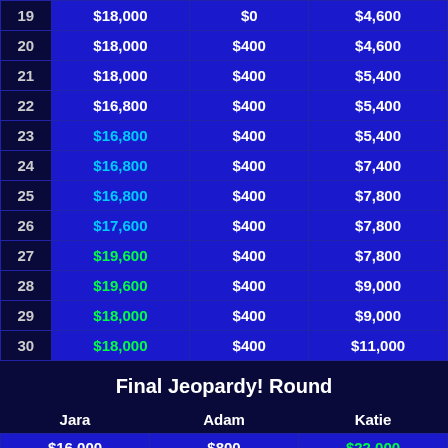| # | Jara | Adam | Katie |
| --- | --- | --- | --- |
| 19 | $18,000 | $0 | $4,600 |
| 20 | $18,000 | $400 | $4,600 |
| 21 | $18,000 | $400 | $5,400 |
| 22 | $16,800 | $400 | $5,400 |
| 23 | $16,800 | $400 | $5,400 |
| 24 | $16,800 | $400 | $7,400 |
| 25 | $16,800 | $400 | $7,800 |
| 26 | $17,600 | $400 | $7,800 |
| 27 | $19,600 | $400 | $7,800 |
| 28 | $19,600 | $400 | $9,000 |
| 29 | $18,000 | $400 | $9,000 |
| 30 | $18,000 | $400 | $11,000 |
Final Jeopardy! Round
| Jara | Adam | Katie |
| --- | --- | --- |
| $16,000 | $800 | $22,000 |